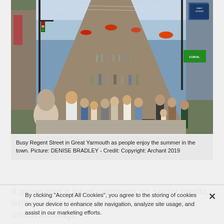[Figure (photo): A busy pedestrian shopping street (Regent Street) in Great Yarmouth packed with crowds of people walking, with shops, signs, hanging flower baskets, and traffic lights visible. Taken on a sunny summer day.]
Busy Regent Street in Great Yarmouth as people enjoy the summer in the town. Picture: DENISE BRADLEY - Credit: Copyright: Archant 2019
It generated a lot of comment on social media, with readers mentioning yet more locations which although
By clicking "Accept All Cookies", you agree to the storing of cookies on your device to enhance site navigation, analyze site usage, and assist in our marketing efforts.